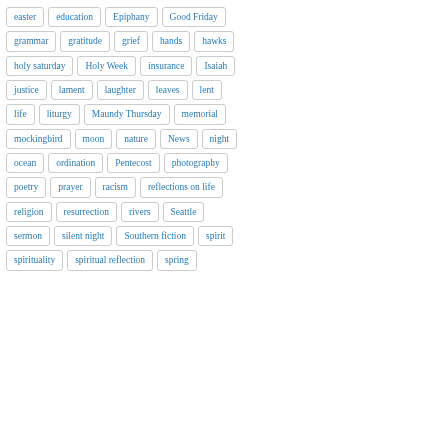easter
education
Epiphany
Good Friday
grammar
gratitude
grief
hands
hawks
holy saturday
Holy Week
insurance
Isaiah
justice
lament
laughter
leaves
lent
life
liturgy
Maundy Thursday
memorial
mockingbird
moon
nature
News
night
ocean
ordination
Pentecost
photography
poetry
prayer
racism
reflections on life
religion
resurrection
rivers
Seattle
sermon
silent night
Southern fiction
spirit
spirituality
spiritual reflection
spring